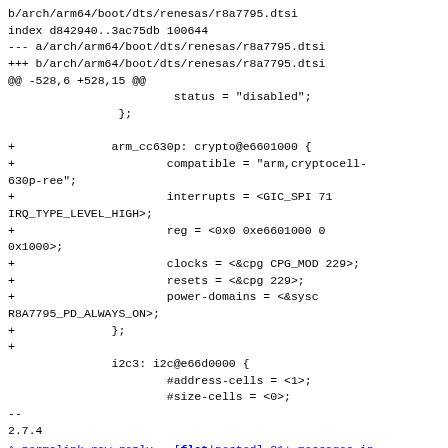b/arch/arm64/boot/dts/renesas/r8a7795.dtsi
index d842940..3ac75db 100644
--- a/arch/arm64/boot/dts/renesas/r8a7795.dtsi
+++ b/arch/arm64/boot/dts/renesas/r8a7795.dtsi
@@ -528,6 +528,15 @@
                         status = "disabled";
                 };

+               arm_cc630p: crypto@e6601000 {
+                       compatible = "arm,cryptocell-630p-ree";
+                       interrupts = <GIC_SPI 71 IRQ_TYPE_LEVEL_HIGH>;
+                       reg = <0x0 0xe6601000 0 0x1000>;
+                       clocks = <&cpg CPG_MOD 229>;
+                       resets = <&cpg 229>;
+                       power-domains = <&sysc R8A7795_PD_ALWAYS_ON>;
+               };
+
               i2c3: i2c@e66d0000 {
                       #address-cells = <1>;
                       #size-cells = <0>;
--
2.7.4
^ permalink raw reply [flat|nested] 21+ messages in thread